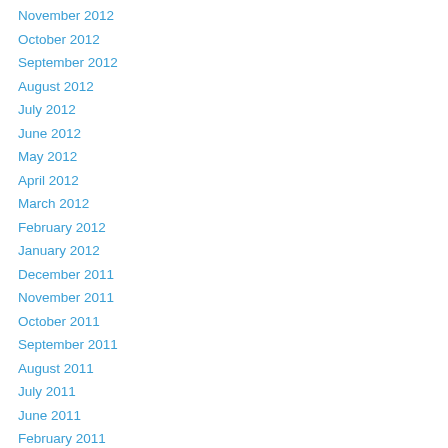November 2012
October 2012
September 2012
August 2012
July 2012
June 2012
May 2012
April 2012
March 2012
February 2012
January 2012
December 2011
November 2011
October 2011
September 2011
August 2011
July 2011
June 2011
February 2011
June 2010